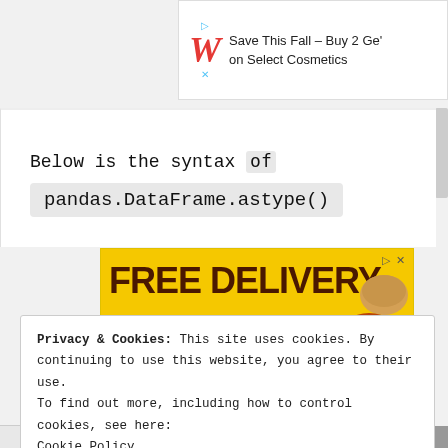[Figure (screenshot): Walgreens advertisement banner: 'Save This Fall – Buy 2 Get on Select Cosmetics' with Walgreens logo]
Below is the syntax of
pandas.DataFrame.astype()
[Figure (screenshot): Yellow advertisement banner with text 'FREE DELIVERY' and delivery truck graphic with food images]
Privacy & Cookies: This site uses cookies. By continuing to use this website, you agree to their use.
To find out more, including how to control cookies, see here:
Cookie Policy

Close and accept